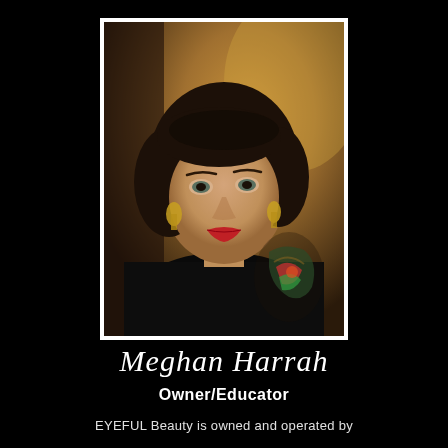[Figure (photo): Portrait photograph of a woman with short dark hair, red lipstick, gold earrings, black sleeveless top, and colorful tattoos on her right arm. The background is warm/blurred indoor setting.]
Meghan Harrah
Owner/Educator
EYEFUL Beauty is owned and operated by